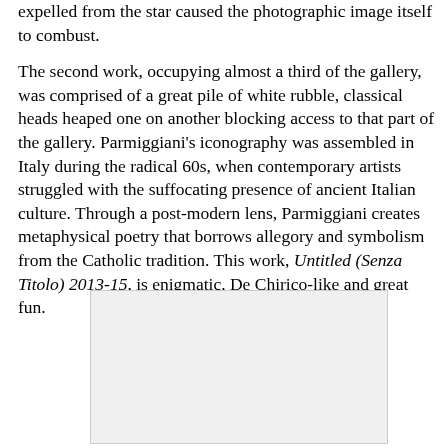expelled from the star caused the photographic image itself to combust.
The second work, occupying almost a third of the gallery, was comprised of a great pile of white rubble, classical heads heaped one on another blocking access to that part of the gallery. Parmiggiani's iconography was assembled in Italy during the radical 60s, when contemporary artists struggled with the suffocating presence of ancient Italian culture. Through a post-modern lens, Parmiggiani creates metaphysical poetry that borrows allegory and symbolism from the Catholic tradition. This work, Untitled (Senza Titolo) 2013-15, is enigmatic, De Chirico-like and great fun.
[Figure (photo): A large rectangular image placeholder with light gray background, positioned in the lower half of the page.]